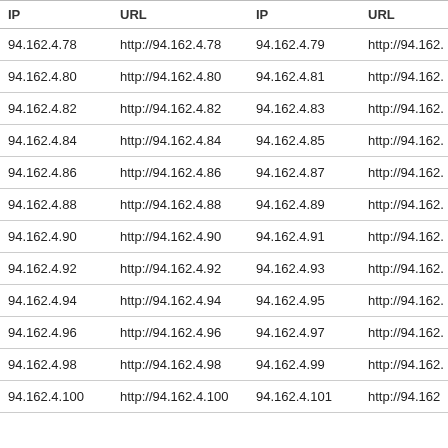| IP | URL | IP | URL |
| --- | --- | --- | --- |
| 94.162.4.78 | http://94.162.4.78 | 94.162.4.79 | http://94.162. |
| 94.162.4.80 | http://94.162.4.80 | 94.162.4.81 | http://94.162. |
| 94.162.4.82 | http://94.162.4.82 | 94.162.4.83 | http://94.162. |
| 94.162.4.84 | http://94.162.4.84 | 94.162.4.85 | http://94.162. |
| 94.162.4.86 | http://94.162.4.86 | 94.162.4.87 | http://94.162. |
| 94.162.4.88 | http://94.162.4.88 | 94.162.4.89 | http://94.162. |
| 94.162.4.90 | http://94.162.4.90 | 94.162.4.91 | http://94.162. |
| 94.162.4.92 | http://94.162.4.92 | 94.162.4.93 | http://94.162. |
| 94.162.4.94 | http://94.162.4.94 | 94.162.4.95 | http://94.162. |
| 94.162.4.96 | http://94.162.4.96 | 94.162.4.97 | http://94.162. |
| 94.162.4.98 | http://94.162.4.98 | 94.162.4.99 | http://94.162. |
| 94.162.4.100 | http://94.162.4.100 | 94.162.4.101 | http://94.162 |